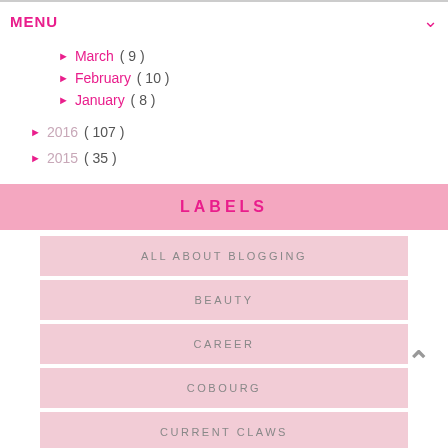MENU
► March ( 9 )
► February ( 10 )
► January ( 8 )
► 2016 ( 107 )
► 2015 ( 35 )
LABELS
ALL ABOUT BLOGGING
BEAUTY
CAREER
COBOURG
CURRENT CLAWS
FASHION SCHOOL